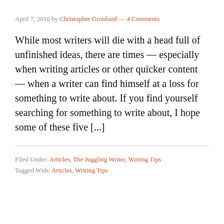April 7, 2010 by Christopher Gronlund — 4 Comments
While most writers will die with a head full of unfinished ideas, there are times — especially when writing articles or other quicker content — when a writer can find himself at a loss for something to write about. If you find yourself searching for something to write about, I hope some of these five [...]
Filed Under: Articles, The Juggling Writer, Writing Tips
Tagged With: Articles, Writing Tips